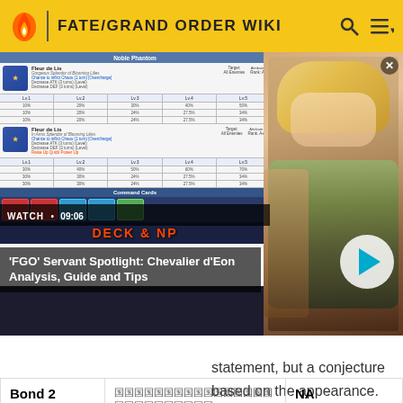FATE/GRAND ORDER WIKI
[Figure (screenshot): Video player overlay showing a Fate/Grand Order wiki page with Noble Phantom table for 'Fleur de Lis' skill, an anime character (Chevalier d'Eon) on the right, a play button, and video title 'FGO Servant Spotlight: Chevalier d'Eon Analysis, Guide and Tips']
statement, but a conjecture based on the appearance.
| Bond 2 |  | NA Localization: |
| --- | --- | --- |
| Bond 2 | 【Japanese text row】 | NA Localization: |